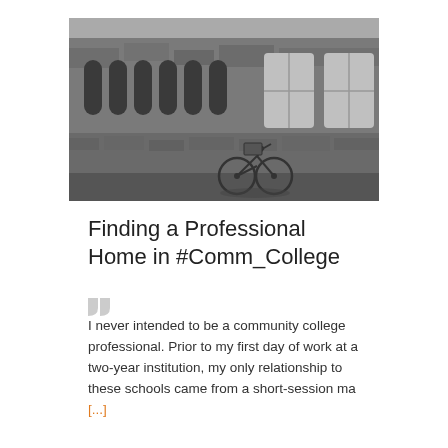[Figure (photo): Black and white photograph of a stone university building facade with gothic arched windows and a bicycle parked against the wall]
Finding a Professional Home in #Comm_College
I never intended to be a community college professional. Prior to my first day of work at a two-year institution, my only relationship to these schools came from a short-session ma [...]